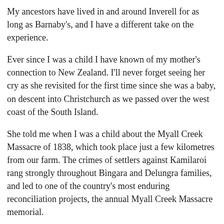My ancestors have lived in and around Inverell for as long as Barnaby's, and I have a different take on the experience.
Ever since I was a child I have known of my mother's connection to New Zealand. I'll never forget seeing her cry as she revisited for the first time since she was a baby, on descent into Christchurch as we passed over the west coast of the South Island.
She told me when I was a child about the Myall Creek Massacre of 1838, which took place just a few kilometres from our farm. The crimes of settlers against Kamilaroi rang strongly throughout Bingara and Delungra families, and led to one of the country's most enduring reconciliation projects, the annual Myall Creek Massacre memorial.
The day Richard and I moved into our new home, I drove the hire truck back to Glen Innes at dusk and saw the hundreds of